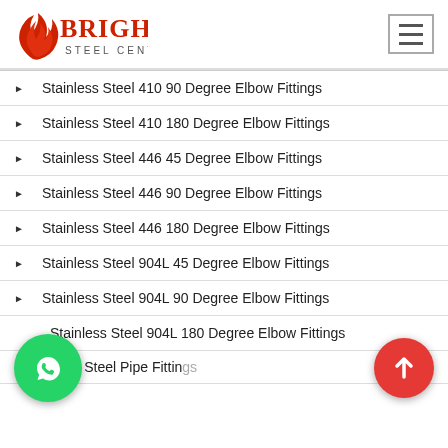[Figure (logo): Bright Steel Centre logo with red stylized B and text]
Stainless Steel 410 90 Degree Elbow Fittings
Stainless Steel 410 180 Degree Elbow Fittings
Stainless Steel 446 45 Degree Elbow Fittings
Stainless Steel 446 90 Degree Elbow Fittings
Stainless Steel 446 180 Degree Elbow Fittings
Stainless Steel 904L 45 Degree Elbow Fittings
Stainless Steel 904L 90 Degree Elbow Fittings
Stainless Steel 904L 180 Degree Elbow Fittings
Alloy Steel Pipe Fittings